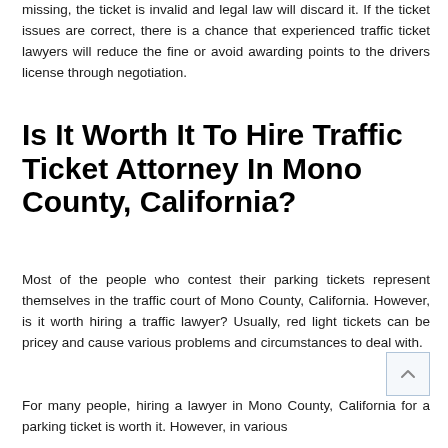missing, the ticket is invalid and legal law will discard it. If the ticket issues are correct, there is a chance that experienced traffic ticket lawyers will reduce the fine or avoid awarding points to the drivers license through negotiation.
Is It Worth It To Hire Traffic Ticket Attorney In Mono County, California?
Most of the people who contest their parking tickets represent themselves in the traffic court of Mono County, California. However, is it worth hiring a traffic lawyer? Usually, red light tickets can be pricey and cause various problems and circumstances to deal with.
For many people, hiring a lawyer in Mono County, California for a parking ticket is worth it. However, in various